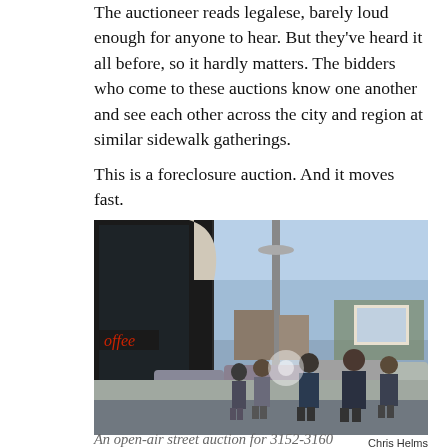The auctioneer reads legalese, barely loud enough for anyone to hear. But they've heard it all before, so it hardly matters. The bidders who come to these auctions know one another and see each other across the city and region at similar sidewalk gatherings.
This is a foreclosure auction. And it moves fast.
[Figure (photo): Outdoor street scene showing a group of people gathered on a sidewalk near a storefront with large dark windows. A street pole is visible in the center. Urban setting with cars parked and trees in the background. A 'coffee' sign is partially visible in red on the left storefront.]
Chris Helms
An open-air street auction for 3152-3160